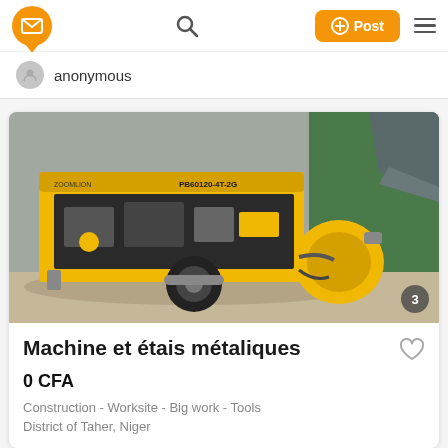anonymous
[Figure (photo): Yellow construction machine / concrete pump on a wheeled trailer, model PB60120-4T-2G, parked outdoors against a green wall. Image counter badge shows '3'.]
Machine et étais métaliques
0 CFA
Construction - Worksite - Big work - Tools
District of Taher, Niger